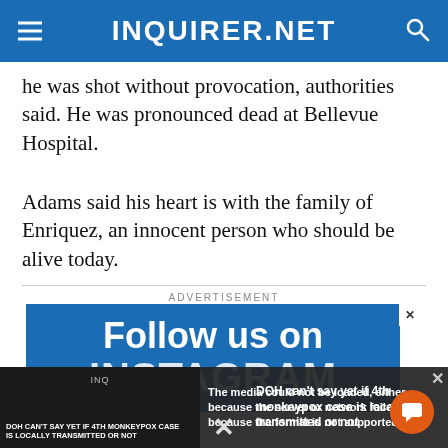INQUIRER.NET
he was shot without provocation, authorities said. He was pronounced dead at Bellevue Hospital.
Adams said his heart is with the family of Enriquez, an innocent person who should be alive today.
ADVERTISEMENT
[Figure (screenshot): Blue advertisement banner reading 'Follow us on INSTAGRAM']
[Figure (screenshot): Media error overlay reading 'The media could not be loaded, either because the server or network failed or because the format is not supported.' with a video thumbnail on the left showing 'DOH CAN'T SAY YET IF 4TH MONKEYPOX CASE IS LOCALLY TRANSMITTED OR NOT' and on the right 'DOH can't say yet if 4th monkeypox case is locally transmitted or not']